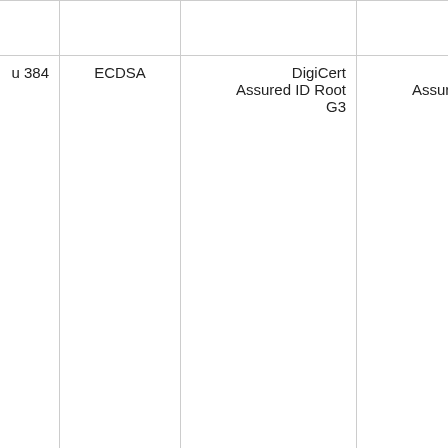|  |  |  |  |
| u 384 | ECDSA | DigiCert Assured ID Root G3 | DigiCert Assured ID Root G3 |